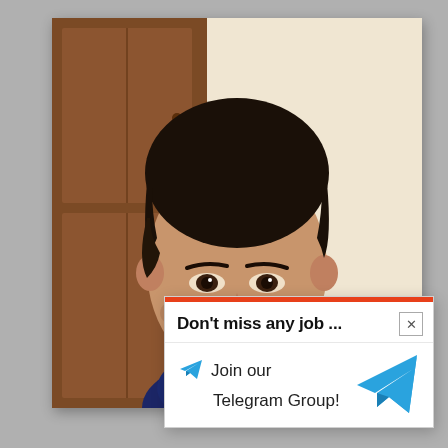[Figure (photo): Profile photo of a young South Asian man with dark hair and beard stubble, wearing a dark blue shirt, standing against a wooden cabinet/wardrobe and a cream-colored wall.]
Don't miss any job ...
Join our
Telegram Group!